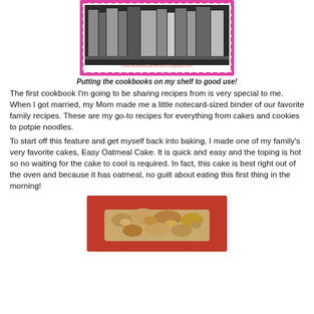[Figure (photo): Black and white photo of cookbooks on a shelf, framed with a pink decorative border. URL watermark visible: www.atlanahjilliensnsick.blogspot.com]
Putting the cookbooks on my shelf to good use!
The first cookbook I'm going to be sharing recipes from is very special to me.  When I got married, my Mom made me a little notecard-sized binder of our favorite family recipes.  These are my go-to recipes for everything from cakes and cookies to potpie noodles.
To start off this feature and get myself back into baking, I made one of my family's very favorite cakes, Easy Oatmeal Cake.  It is quick and easy and the toping is hot so no waiting for the cake to cool is required.  In fact, this cake is best right out of the oven and because it has oatmeal, no guilt about eating this first thing in the morning!
[Figure (photo): Photo of Easy Oatmeal Cake on a red plate, showing the crumbly oatmeal topping.]